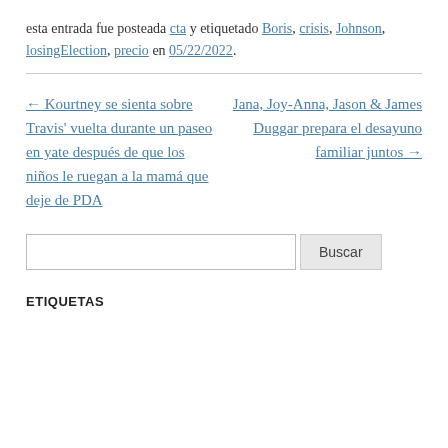esta entrada fue posteada cta y etiquetado Boris, crisis, Johnson, losingElection, precio en 05/22/2022.
← Kourtney se sienta sobre Travis' vuelta durante un paseo en yate después de que los niños le ruegan a la mamá que deje de PDA
Jana, Joy-Anna, Jason & James Duggar prepara el desayuno familiar juntos →
Buscar
ETIQUETAS